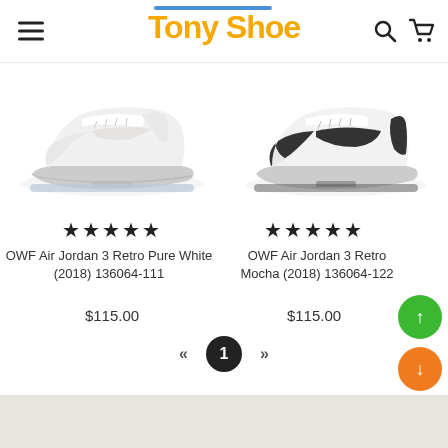Tony Shoe
[Figure (photo): White sneaker - OWF Air Jordan 3 Retro Pure White (2018) 136064-111]
[Figure (photo): White and black sneaker - OWF Air Jordan 3 Retro Mocha (2018) 136064-122]
★★★★★
OWF Air Jordan 3 Retro Pure White (2018) 136064-111
$115.00
★★★★★
OWF Air Jordan 3 Retro Mocha (2018) 136064-122
$115.00
« 1 »